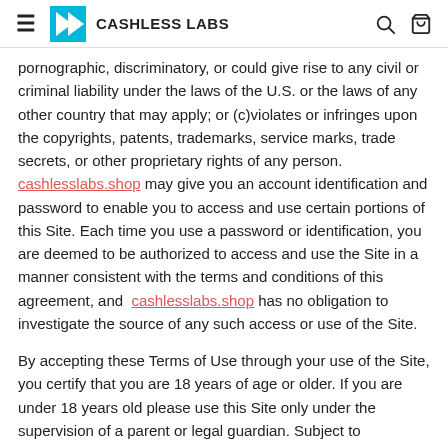CASHLESS LABS
pornographic, discriminatory, or could give rise to any civil or criminal liability under the laws of the U.S. or the laws of any other country that may apply; or (c)violates or infringes upon the copyrights, patents, trademarks, service marks, trade secrets, or other proprietary rights of any person. cashlesslabs.shop may give you an account identification and password to enable you to access and use certain portions of this Site. Each time you use a password or identification, you are deemed to be authorized to access and use the Site in a manner consistent with the terms and conditions of this agreement, and cashlesslabs.shop has no obligation to investigate the source of any such access or use of the Site.
By accepting these Terms of Use through your use of the Site, you certify that you are 18 years of age or older. If you are under 18 years old please use this Site only under the supervision of a parent or legal guardian. Subject to